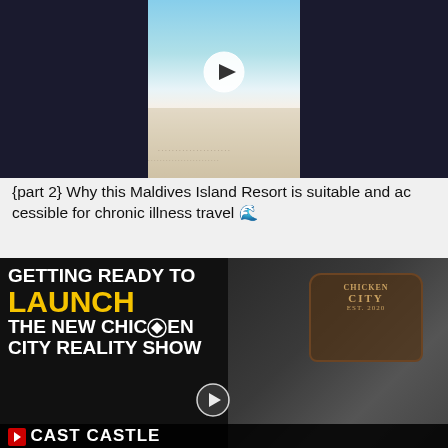[Figure (screenshot): Video thumbnail showing a Maldives beach scene with play button, dark panels on sides and bright beach/ocean in center]
{part 2} Why this Maldives Island Resort is suitable and accessible for chronic illness travel 🌊
[Figure (screenshot): Video thumbnail with black background showing text 'Getting Ready To LAUNCH THE NEW CHICKEN CITY REALITY SHOW' with yellow LAUNCH text, play button overlay, and two people mounting a sign on right side. Bottom shows 'CAST CASTLE' text.]